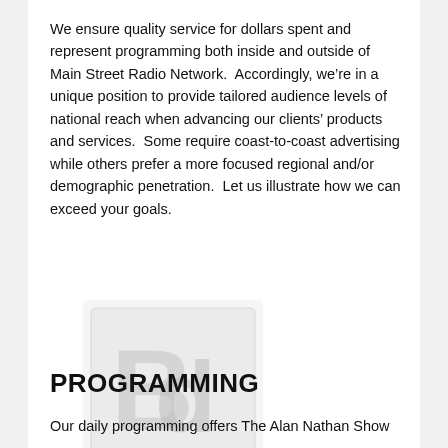We ensure quality service for dollars spent and represent programming both inside and outside of Main Street Radio Network.  Accordingly, we're in a unique position to provide tailored audience levels of national reach when advancing our clients' products and services.  Some require coast-to-coast advertising while others prefer a more focused regional and/or demographic penetration.  Let us illustrate how we can exceed your goals.
[Figure (illustration): Faded placeholder image showing overlapping letter shapes in light gray tones]
PROGRAMMING
Our daily programming offers The Alan Nathan Show